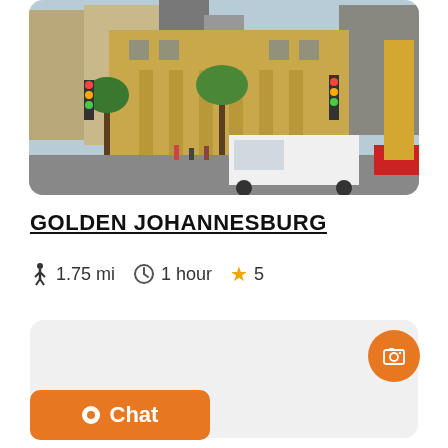[Figure (photo): Street-level photo of Golden Johannesburg showing a historic sandstone colonial building with columns, palm trees, traffic lights, and a white van in the foreground with modern skyscrapers visible in the background.]
GOLDEN JOHANNESBURG
🚶 1.75 mi  🕐 1 hour  ⭐ 5
[Figure (other): Gray card/panel UI element with an orange circular icon button (gallery/image icon) in the top-right corner.]
Chat